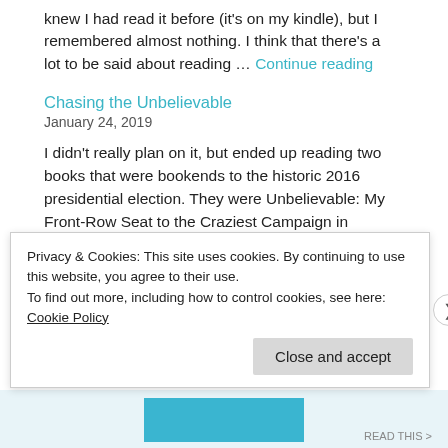knew I had read it before (it's on my kindle), but I remembered almost nothing. I think that there's a lot to be said about reading … Continue reading
Chasing the Unbelievable
January 24, 2019
I didn't really plan on it, but ended up reading two books that were bookends to the historic 2016 presidential election. They were Unbelievable: My Front-Row Seat to the Craziest Campaign in American History by Katy Tur and Chasing Hillary: Ten Years, Two Presidential Campaigns and One Intact Glass Ceiling by Amy
Privacy & Cookies: This site uses cookies. By continuing to use this website, you agree to their use.
To find out more, including how to control cookies, see here: Cookie Policy
Close and accept